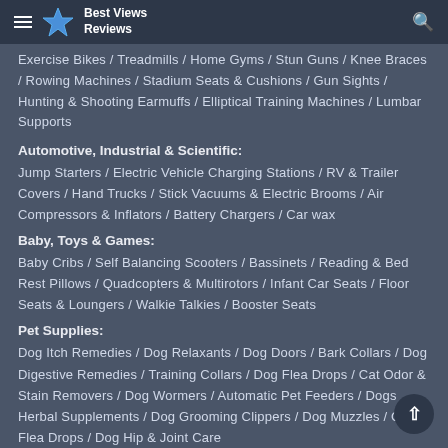Best Views Reviews
Exercise Bikes / Treadmills / Home Gyms / Stun Guns / Knee Braces / Rowing Machines / Stadium Seats & Cushions / Gun Sights / Hunting & Shooting Earmuffs / Elliptical Training Machines / Lumbar Supports
Automotive, Industrial & Scientific:
Jump Starters / Electric Vehicle Charging Stations / RV & Trailer Covers / Hand Trucks / Stick Vacuums & Electric Brooms / Air Compressors & Inflators / Battery Chargers / Car wax
Baby, Toys & Games:
Baby Cribs / Self Balancing Scooters / Bassinets / Reading & Bed Rest Pillows / Quadcopters & Multirotors / Infant Car Seats / Floor Seats & Loungers / Walkie Talkies / Booster Seats
Pet Supplies:
Dog Itch Remedies / Dog Relaxants / Dog Doors / Bark Collars / Dog Digestive Remedies / Training Collars / Dog Flea Drops / Cat Odor & Stain Removers / Dog Wormers / Automatic Pet Feeders / Dogs Herbal Supplements / Dog Grooming Clippers / Dog Muzzles / Cat Flea Drops / Dog Hip & Joint Care